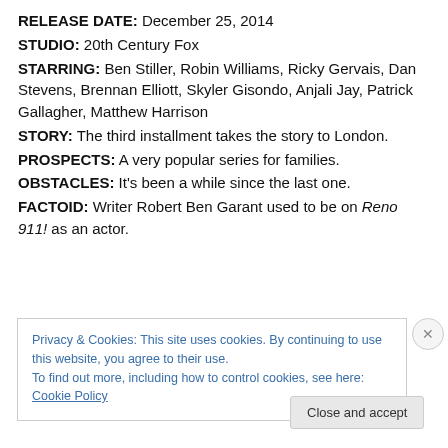RELEASE DATE: December 25, 2014
STUDIO: 20th Century Fox
STARRING: Ben Stiller, Robin Williams, Ricky Gervais, Dan Stevens, Brennan Elliott, Skyler Gisondo, Anjali Jay, Patrick Gallagher, Matthew Harrison
STORY: The third installment takes the story to London.
PROSPECTS: A very popular series for families.
OBSTACLES: It's been a while since the last one.
FACTOID: Writer Robert Ben Garant used to be on Reno 911! as an actor.
Privacy & Cookies: This site uses cookies. By continuing to use this website, you agree to their use.
To find out more, including how to control cookies, see here: Cookie Policy